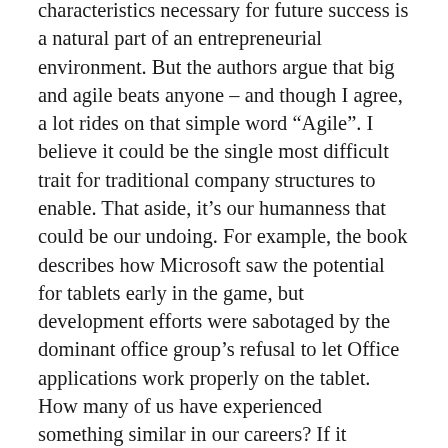characteristics necessary for future success is a natural part of an entrepreneurial environment. But the authors argue that big and agile beats anyone – and though I agree, a lot rides on that simple word “Agile”. I believe it could be the single most difficult trait for traditional company structures to enable. That aside, it’s our humanness that could be our undoing. For example, the book describes how Microsoft saw the potential for tablets early in the game, but development efforts were sabotaged by the dominant office group’s refusal to let Office applications work properly on the tablet. How many of us have experienced something similar in our careers? If it impacts my budget, bonus, or future success – I have to find a way to derail it.
We can be short sighted as well. Microsoft began